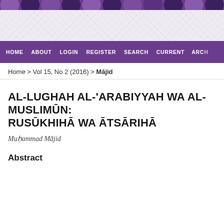[Figure (screenshot): Website header banner with purple hexagonal geometric shapes on top and a light grey textured background area below]
HOME   ABOUT   LOGIN   REGISTER   SEARCH   CURRENT   ARCH
Home > Vol 15, No 2 (2016) > Mājid
AL-LUGHAH AL-'ARABIYYAH WA AL-MUSLIMŪN: RUSŪKHIHĀ WA ĀTSĀRIHĀ
Muḥammad Mājid
Abstract